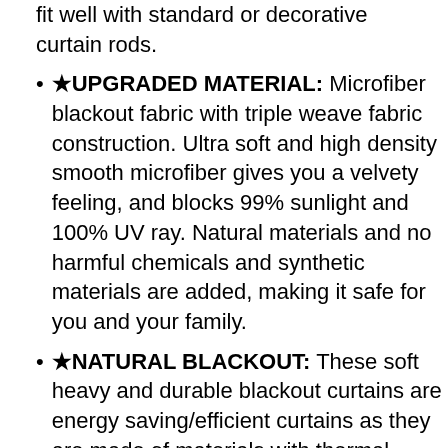fit well with standard or decorative curtain rods.
★UPGRADED MATERIAL: Microfiber blackout fabric with triple weave fabric construction. Ultra soft and high density smooth microfiber gives you a velvety feeling, and blocks 99% sunlight and 100% UV ray. Natural materials and no harmful chemicals and synthetic materials are added, making it safe for you and your family.
★NATURAL BLACKOUT: These soft heavy and durable blackout curtains are energy saving/efficient curtains as they are made of materials with thermal insulation properties. They will prevent heat-loss and block sunlight from entering into the room.